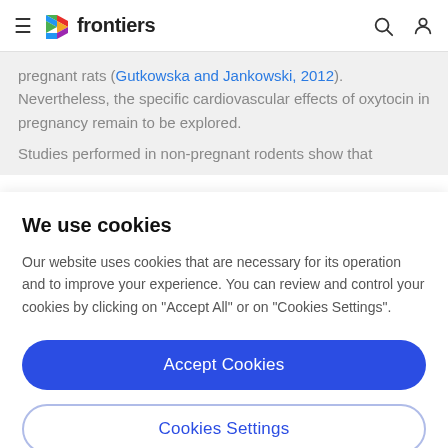frontiers
pregnant rats (Gutkowska and Jankowski, 2012). Nevertheless, the specific cardiovascular effects of oxytocin in pregnancy remain to be explored.
Studies performed in non-pregnant rodents show that
We use cookies
Our website uses cookies that are necessary for its operation and to improve your experience. You can review and control your cookies by clicking on "Accept All" or on "Cookies Settings".
Accept Cookies
Cookies Settings